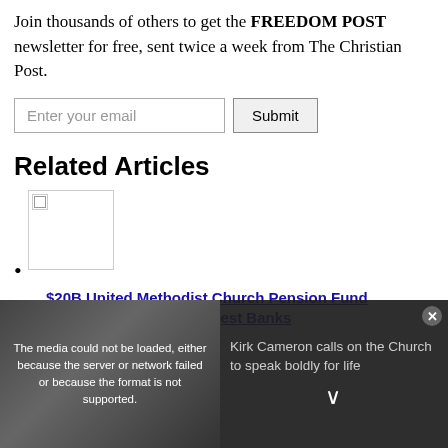Join thousands of others to get the FREEDOM POST newsletter for free, sent twice a week from The Christian Post.
Enter your email | Submit
Related Articles
[Figure (photo): Broken image thumbnail for first related article]
$20B United Methodist Church Pension Fund Blacklists Israel's 5 Largest Banks
[Figure (photo): Broken image thumbnail for second related article]
[Figure (screenshot): Video overlay: error message 'The media could not be loaded, either because the server or network failed or because the format is not supported.' with sidebar text 'Kirk Cameron calls on the Church to speak boldly for life']